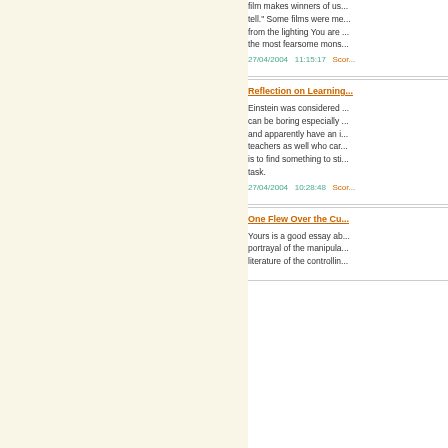film makes winners of us... tell." Some films were me... from the lighting You are ... the most fearsome mons...
27/04/2004   11:15:17   Scor...
Reflection on Learning...
Einstein was considered ... can be boring especially ... and apparently have an i... teachers as well who car... is to find something to sti... task.
27/04/2004   10:28:48   Scor...
One Flew Over the Cu...
Yours is a good essay ab... portrayal of the manipula... literature of the controllin...